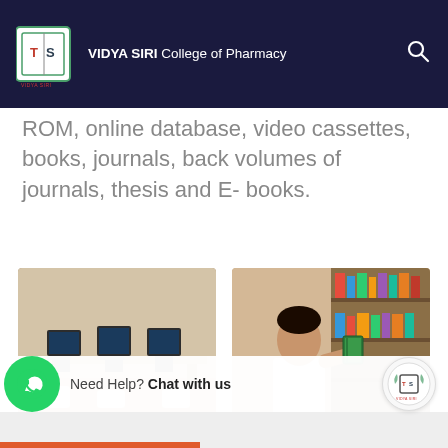VIDYA SIRI College of Pharmacy
ROM, online database, video cassettes, books, journals, back volumes of journals, thesis and E- books.
[Figure (photo): Computer lab with desktop computers on long tables and white chairs]
[Figure (photo): Student browsing books on library shelves]
Need Help? Chat with us